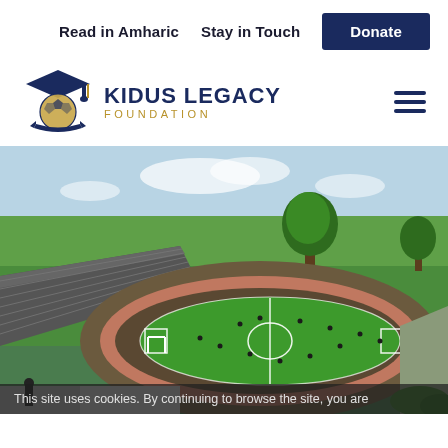Read in Amharic   Stay in Touch   Donate
[Figure (logo): Kidus Legacy Foundation logo with soccer ball and graduation cap icon, navy and gold colors]
[Figure (photo): Aerial 3D rendering of a sports facility with a soccer field surrounded by a running track with red lanes, green grass, stadium seating area, trees in background under a blue sky]
This site uses cookies. By continuing to browse the site, you are